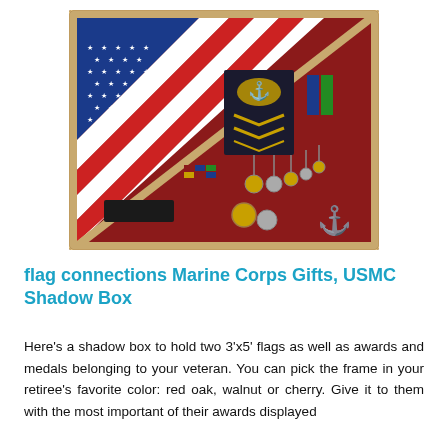[Figure (photo): A wooden shadow box with a red background holding a folded American flag in the upper-left corner, military rank insignia patch, various medals and ribbons, coins, and a nameplate. The frame appears to be natural wood color.]
flag connections Marine Corps Gifts, USMC Shadow Box
Here's a shadow box to hold two 3'x5' flags as well as awards and medals belonging to your veteran. You can pick the frame in your retiree's favorite color: red oak, walnut or cherry. Give it to them with the most important of their awards displayed